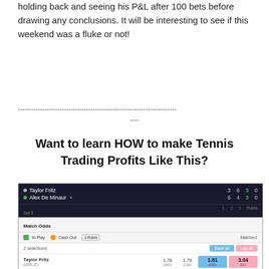holding back and seeing his P&L after 100 bets before drawing any conclusions. It will be interesting to see if this weekend was a fluke or not!
------------------------------------------------------------------------
----
Want to learn HOW to make Tennis Trading Profits Like This?
[Figure (screenshot): Betfair betting exchange screenshot showing a tennis match between Taylor Fritz and Alex De Minaur with match odds, in-play status, and betting options including Back all and Lay all columns. Taylor Fritz scores 3 6 3 0, Alex De Minaur scores 6 4 3 0.]